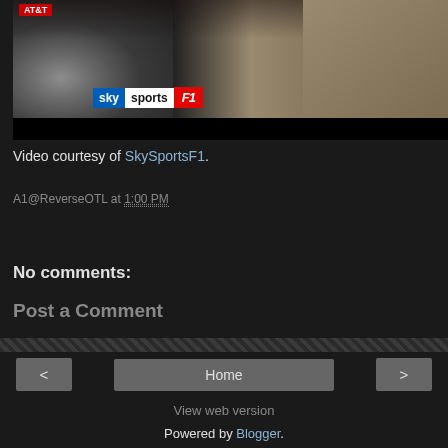[Figure (screenshot): Video thumbnail showing a Sky Sports F1 broadcast with a person in a tan/beige polo shirt and a celebration scene. Sky Sports F1 logo visible.]
Video courtesy of SkySportsF1.
A1@ReverseOTL at 1:00 PM
Share
No comments:
Post a Comment
Home | View web version | Powered by Blogger.